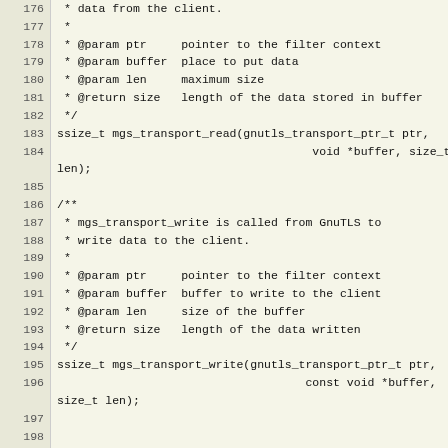Source code listing, lines 176–206, showing C function declarations for mgs_transport_read, mgs_transport_write, mgs_rehandshake, and mgs_cache_post_config with Doxygen comments.